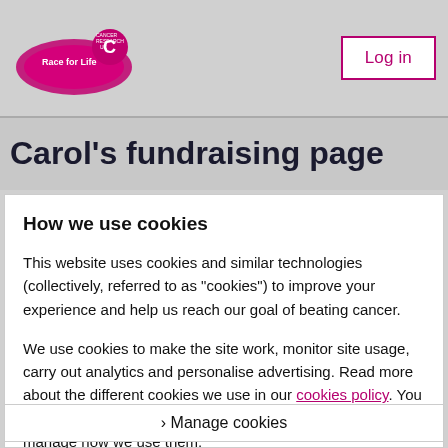[Figure (logo): Race for Life and Cancer Research UK logo in header]
Log in
Carol's fundraising page
How we use cookies
This website uses cookies and similar technologies (collectively, referred to as "cookies") to improve your experience and help us reach our goal of beating cancer.
We use cookies to make the site work, monitor site usage, carry out analytics and personalise advertising. Read more about the different cookies we use in our cookies policy. You can continue to the site and accept all cookies. Or you can manage how we use them.
› Manage cookies